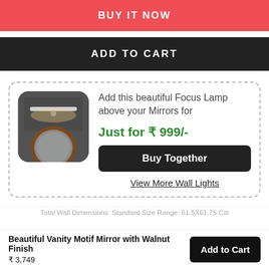BUY IT NOW
ADD TO CART
[Figure (photo): A lamp mounted above a round mirror with walnut finish, shown as a product thumbnail]
Add this beautiful Focus Lamp above your Mirrors for
Just for ₹ 999/-
Buy Together
View More Wall Lights
Total Wall Dimensions: Standard Size Range: 61.5X61.75 Citi
Beautiful Vanity Motif Mirror with Walnut Finish
₹ 3,749
Add to Cart